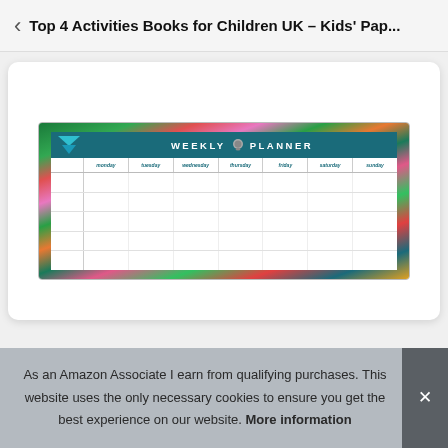Top 4 Activities Books for Children UK – Kids' Pap...
[Figure (screenshot): Weekly planner with tropical floral border, teal header reading WEEKLY PLANNER with a sloth icon, columns for monday, tuesday, wednesday, thursday, friday, saturday, sunday, and empty grid rows for scheduling.]
As an Amazon Associate I earn from qualifying purchases. This website uses the only necessary cookies to ensure you get the best experience on our website. More information